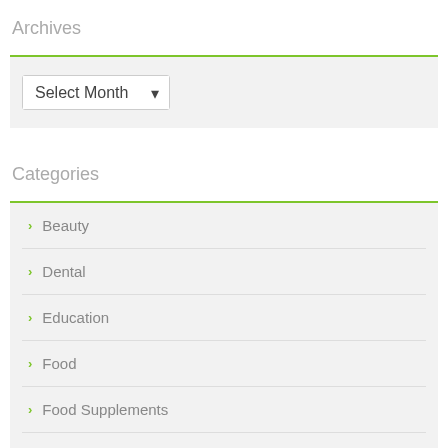Archives
Select Month
Categories
Beauty
Dental
Education
Food
Food Supplements
Hardware